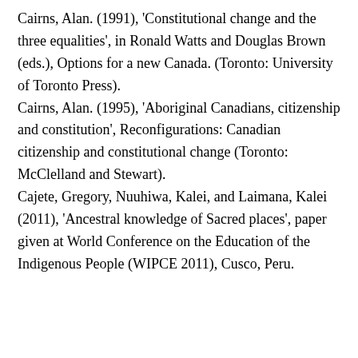Cairns, Alan. (1991), 'Constitutional change and the three equalities', in Ronald Watts and Douglas Brown (eds.), Options for a new Canada. (Toronto: University of Toronto Press).
Cairns, Alan. (1995), 'Aboriginal Canadians, citizenship and constitution', Reconfigurations: Canadian citizenship and constitutional change (Toronto: McClelland and Stewart).
Cajete, Gregory, Nuuhiwa, Kalei, and Laimana, Kalei (2011), 'Ancestral knowledge of Sacred places', paper given at World Conference on the Education of the Indigenous People (WIPCE 2011), Cusco, Peru.